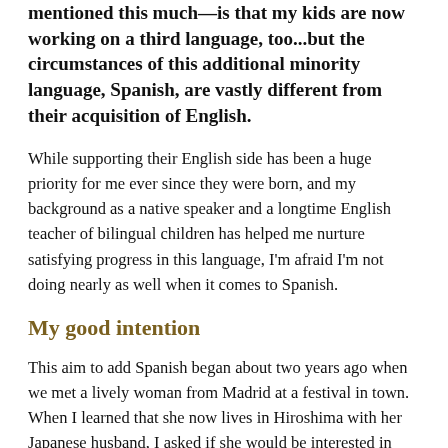mentioned this much—is that my kids are now working on a third language, too...but the circumstances of this additional minority language, Spanish, are vastly different from their acquisition of English.
While supporting their English side has been a huge priority for me ever since they were born, and my background as a native speaker and a longtime English teacher of bilingual children has helped me nurture satisfying progress in this language, I'm afraid I'm not doing nearly as well when it comes to Spanish.
My good intention
This aim to add Spanish began about two years ago when we met a lively woman from Madrid at a festival in town. When I learned that she now lives in Hiroshima with her Japanese husband, I asked if she would be interested in teaching Spanish to my kids—then 11 and